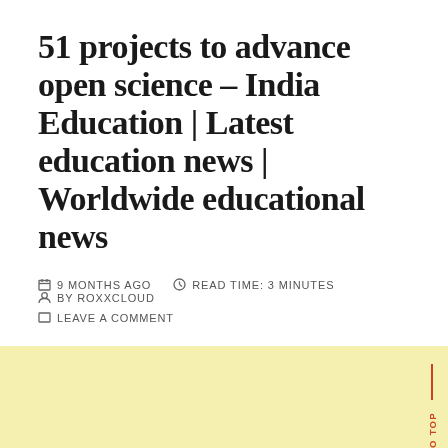51 projects to advance open science – India Education | Latest education news | Worldwide educational news
9 MONTHS AGO   READ TIME: 3 MINUTES   BY ROXXCLOUD   LEAVE A COMMENT
[Figure (other): Light yellow/cream colored footer/background section with a 'BACK TO TOP' vertical label in orange-red on the right side with a vertical line above it]